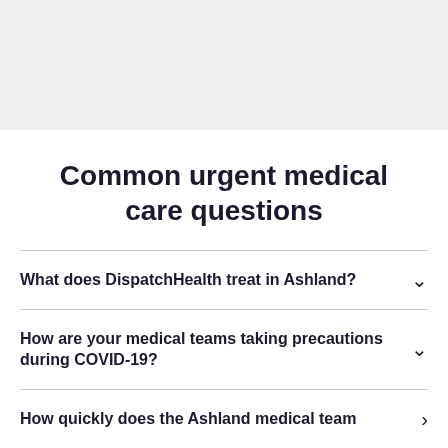Common urgent medical care questions
What does DispatchHealth treat in Ashland?
How are your medical teams taking precautions during COVID-19?
How quickly does the Ashland medical team